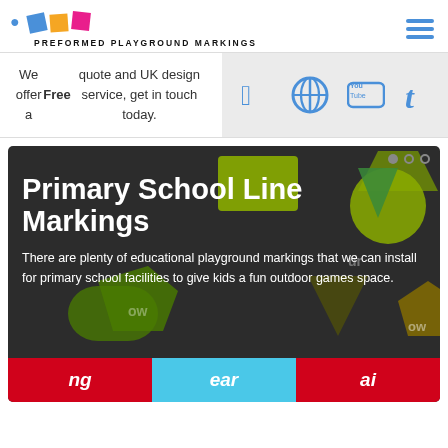PREFORMED PLAYGROUND MARKINGS
We offer a Free quote and UK design service, get in touch today.
[Figure (screenshot): Social media icons: Twitter, Pinterest, YouTube, Tumblr on grey background]
[Figure (photo): Hero image with dark background showing colorful playground marking shapes (rectangles, triangles, circles, pentagons) with text 'Primary School Line Markings' and description. Bottom shows phonics tiles: ng (red), ear (cyan), ai (red).]
Primary School Line Markings
There are plenty of educational playground markings that we can install for primary school facilities to give kids a fun outdoor games space.